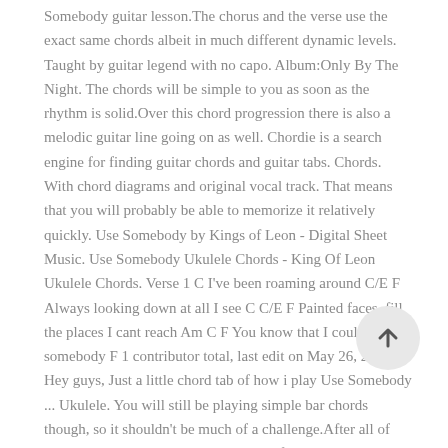Somebody guitar lesson.The chorus and the verse use the exact same chords albeit in much different dynamic levels. Taught by guitar legend with no capo. Album:Only By The Night. The chords will be simple to you as soon as the rhythm is solid.Over this chord progression there is also a melodic guitar line going on as well. Chordie is a search engine for finding guitar chords and guitar tabs. Chords. With chord diagrams and original vocal track. That means that you will probably be able to memorize it relatively quickly. Use Somebody by Kings of Leon - Digital Sheet Music. Use Somebody Ukulele Chords - King Of Leon Ukulele Chords. Verse 1 C I've been roaming around C/E F Always looking down at all I see C C/E F Painted faces, fill the places I cant reach Am C F You know that I could use somebody F 1 contributor total, last edit on May 26, 2018. Hey guys, Just a little chord tab of how i play Use Somebody ... Ukulele. You will still be playing simple bar chords though, so it shouldn't be much of a challenge.After all of the rhythm guitar parts are taken care of, I will then show you a note-for-note breakdown of the guitar solo.Matthew Followill's guitar solo consists
[Figure (other): Circular scroll-to-top button with an upward arrow icon, light gray background]